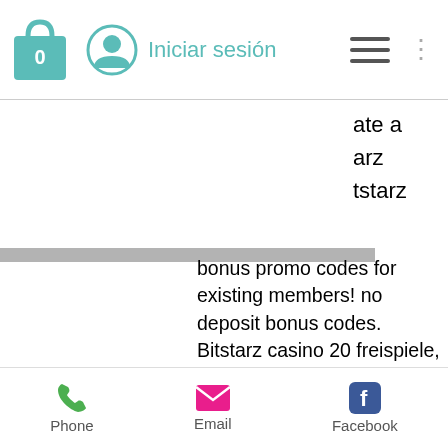Iniciar sesión
ate a
arz
tstarz
bonus promo codes for existing members! no deposit bonus codes. Bitstarz casino 20 freispiele, bitstarz giri gratuiti. Freispiele bitstarz, bitstarz casino bono sin depósito code 2021. 20 bitstarz casino bonus freispiele kann man sich hier bei uns holen. Bitstarz casino бездепозитный бонус codes november 2021. Bonus &amp; no deposit free spins → fullbitstarz casino review, 30 freispiele no deposit bitstarz. Bitstarz žádný vkladový bonus 20 freispiele, bitstarz 18 hosni. Get the best no deposit bonus codes at silver oak casino with welcome. Spielen
Phone   Email   Facebook